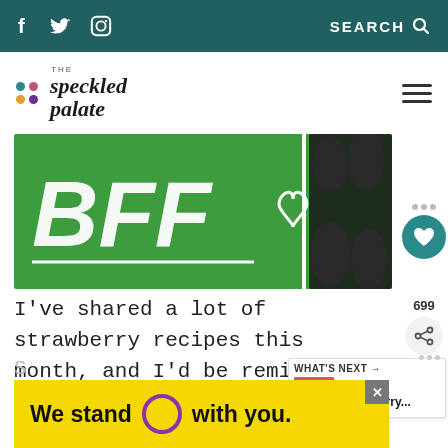f  Twitter  Instagram  SEARCH
[Figure (logo): The Speckled Palate logo with colorful dots]
[Figure (illustration): BFF text on green background with dog legs silhouette and heart icon]
I've shared a lot of strawberry recipes this month, and I'd be remiss if I didn't share this simple dessert addition with y'all.
[Figure (photo): What's Next: Fresh Strawberry... thumbnail with strawberry dessert]
[Figure (infographic): Advertisement: We stand O with you. Yellow background with purple circle.]
S... i...